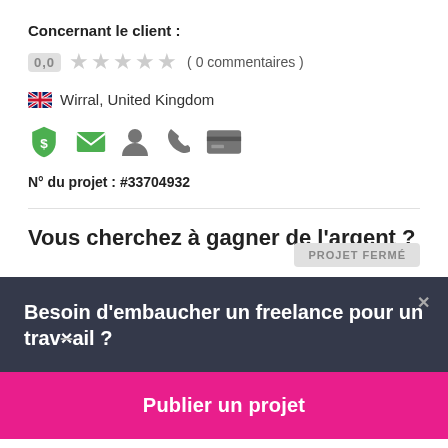Concernant le client :
0,0  ★★★★★ ( 0 commentaires )
🇬🇧 Wirral, United Kingdom
[Figure (infographic): Row of icons: shield with dollar sign (green), envelope (green), person silhouette (grey), phone handset (grey), credit card (grey)]
Nº du projet : #33704932
Vous cherchez à gagner de l'argent ?
PROJET FERMÉ
Besoin d'embaucher un freelance pour un travail ?
Publier un projet